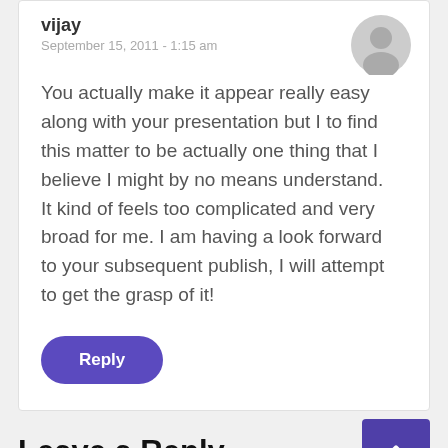vijay
September 15, 2011 - 1:15 am
You actually make it appear really easy along with your presentation but I to find this matter to be actually one thing that I believe I might by no means understand. It kind of feels too complicated and very broad for me. I am having a look forward to your subsequent publish, I will attempt to get the grasp of it!
Reply
Leave a Reply
Your email address will not be published. Required